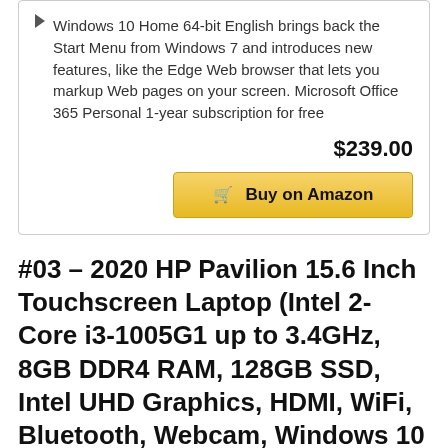Windows 10 Home 64-bit English brings back the Start Menu from Windows 7 and introduces new features, like the Edge Web browser that lets you markup Web pages on your screen. Microsoft Office 365 Personal 1-year subscription for free
$239.00
Buy on Amazon
#03 – 2020 HP Pavilion 15.6 Inch Touchscreen Laptop (Intel 2-Core i3-1005G1 up to 3.4GHz, 8GB DDR4 RAM, 128GB SSD, Intel UHD Graphics, HDMI, WiFi, Bluetooth, Webcam, Windows 10 Home)